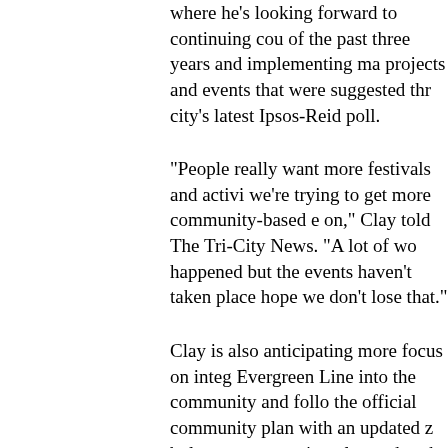It also returned Mayor Mike Clay to the council where he's looking forward to continuing cou of the past three years and implementing ma projects and events that were suggested thr city's latest Ipsos-Reid poll.
"People really want more festivals and activi we're trying to get more community-based e on," Clay told The Tri-City News. "A lot of wo happened but the events haven't taken place hope we don't lose that."
Clay is also anticipating more focus on integ Evergreen Line into the community and follo the official community plan with an updated z bylaw, transportation plan and parks and rec
What he doesn't expect to happen is re-oper OCP.
"I'm taking it as my mandate that [voters] are supportive of the OCP, though I understand t